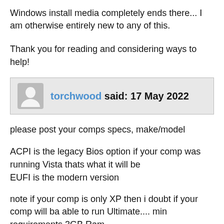Windows install media completely ends there... I am otherwise entirely new to any of this.
Thank you for reading and considering ways to help!
torchwood said: 17 May 2022
please post your comps specs, make/model
ACPI is the legacy Bios option if your comp was running Vista thats what it will be
EUFI is the modern version
note if your comp is only XP then i doubt if your comp will ba able to run Ultimate.... min requirements 3GB Ram